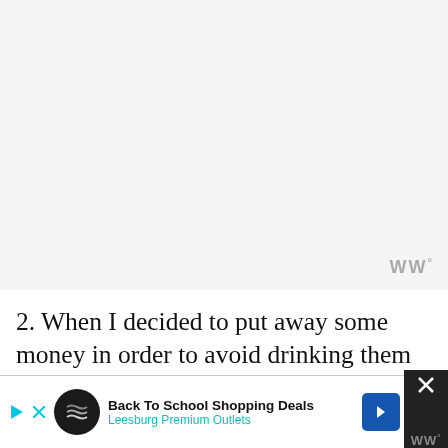[Figure (screenshot): Gray placeholder area at top of page representing an image or banner]
WWº
2. When I decided to put away some money in order to avoid drinking them all (I know it doesn't sound like a lesson to tell to your children, but it's true) I actually decided to save some money. Put some away, even though I could've spent them all without feeling any immediate effect. Let's say that th was like a savings account or an en
[Figure (infographic): Advertisement bar at bottom: Back To School Shopping Deals - Leesburg Premium Outlets with logo and navigation arrow]